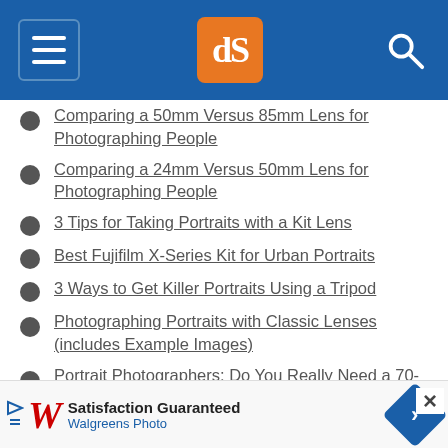[Figure (screenshot): Website navigation bar with hamburger menu icon, dPS logo in orange square, and search icon on blue background]
Comparing a 50mm Versus 85mm Lens for Photographing People
Comparing a 24mm Versus 50mm Lens for Photographing People
3 Tips for Taking Portraits with a Kit Lens
Best Fujifilm X-Series Kit for Urban Portraits
3 Ways to Get Killer Portraits Using a Tripod
Photographing Portraits with Classic Lenses (includes Example Images)
Portrait Photographers: Do You Really Need a 70-200mm Lens?
[Figure (screenshot): Advertisement banner for Walgreens Photo: Satisfaction Guaranteed with Walgreens logo and blue direction arrow icon]